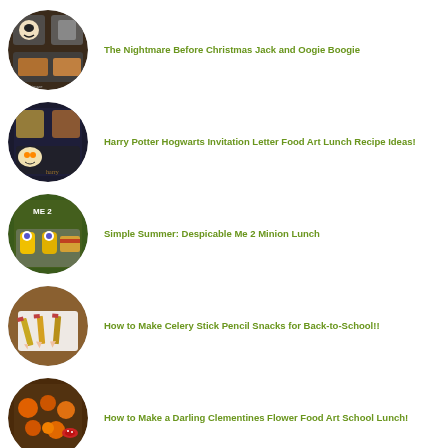The Nightmare Before Christmas Jack and Oogie Boogie
Harry Potter Hogwarts Invitation Letter Food Art Lunch Recipe Ideas!
Simple Summer: Despicable Me 2 Minion Lunch
How to Make Celery Stick Pencil Snacks for Back-to-School!!
How to Make a Darling Clementines Flower Food Art School Lunch!